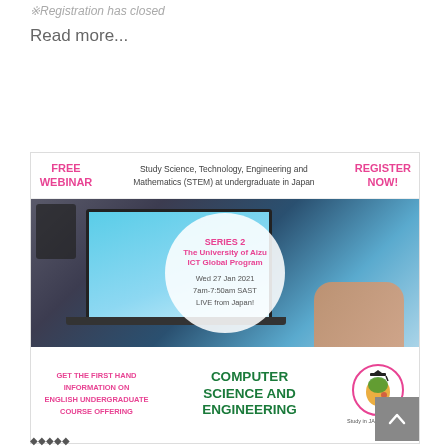※Registration has closed
Read more...
[Figure (infographic): Free Webinar banner for Study Science, Technology, Engineering and Mathematics (STEM) at undergraduate in Japan. Series 2 - The University of Aizu ICT Global Program. Wed 27 Jan 2021, 7am-7:50am SAST, LIVE from Japan! Computer Science and Engineering. Register Now. Get the first hand information on English undergraduate course offering. Study in JAPAN for Africa logo.]